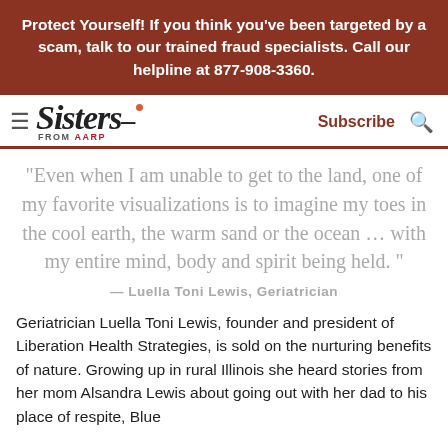Protect Yourself! If you think you've been targeted by a scam, talk to our trained fraud specialists. Call our helpline at 877-908-3360.
[Figure (logo): Sisters from AARP logo with hamburger menu, Subscribe link and search icon]
“Even when I am unable to get to the land, one of my favorite visualizations is to imagine my toes in the cool earth, the warm sand or the ocean … with my entire mind, body and spirit being held. ”
— Luella Toni Lewis, Geriatrician
Geriatrician Luella Toni Lewis, founder and president of Liberation Health Strategies, is sold on the nurturing benefits of nature. Growing up in rural Illinois she heard stories from her mom Alsandra Lewis about going out with her dad to his place of respite, Blue